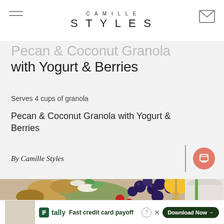CAMILLE STYLES
Pecan & Coconut Granola with Yogurt & Berries
Serves 4 cups of granola
Pecan & Coconut Granola with Yogurt & Berries
By Camille Styles
[Figure (photo): Bowl of granola topped with blueberries, raspberries, coconut flakes, and mint, alongside a jar with honey dipper and yogurt]
tally Fast credit card payoff Download Now →